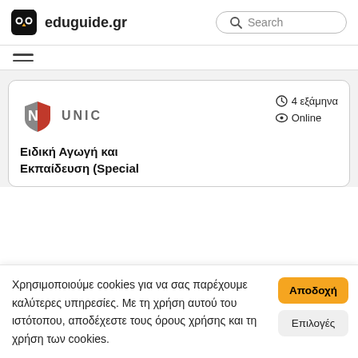eduguide.gr — Search bar
[Figure (logo): Owl icon logo for eduguide.gr with text 'eduguide.gr' and a search bar on the right]
[Figure (other): Hamburger menu icon (three horizontal lines)]
[Figure (logo): UNIC university logo — stylized red and grey shield with text UNIC]
4 εξάμηνα
Online
Ειδική Αγωγή και Εκπαίδευση (Special
Χρησιμοποιούμε cookies για να σας παρέχουμε καλύτερες υπηρεσίες. Με τη χρήση αυτού του ιστότοπου, αποδέχεστε τους όρους χρήσης και τη χρήση των cookies.
Αποδοχή
Επιλογές